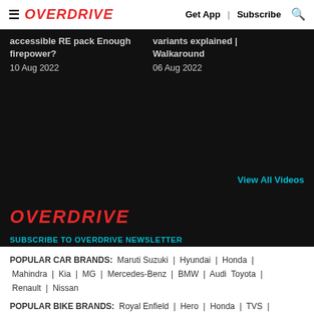≡ OVERDRIVE | Get App | Subscribe 🔍
accessible RE pack Enough firepower?
10 Aug 2022
variants explained | Walkaround
06 Aug 2022
View All Videos
OVERDRIVE
SUBSCRIBE TO OVERDRIVE NEWSLETTER
Enter Email ID  GO
POPULAR CAR BRANDS: Maruti Suzuki | Hyundai | Honda | Mahindra | Kia | MG | Mercedes-Benz | BMW | Audi Toyota | Renault | Nissan
POPULAR BIKE BRANDS: Royal Enfield | Hero | Honda | TVS | Suzuki | Yamaha | Bajaj | KTM | Harley-Davidson | Kawasaki |